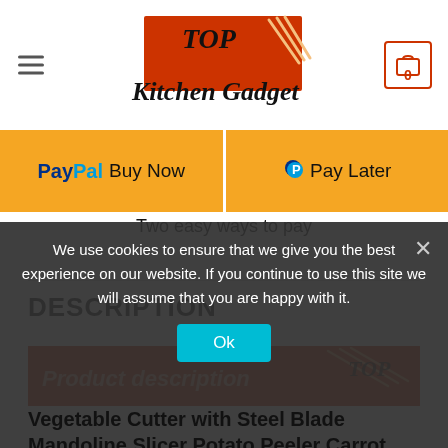Top Kitchen Gadget
[Figure (screenshot): PayPal Buy Now button (yellow background) and Pay Later button (yellow background) side by side]
Two easy ways to pay
DESCRIPTION
[Figure (illustration): Product description banner with Top Kitchen Gadget logo on red/orange background]
Vegetable Cutter with Steel Blade Mandoline Slicer Potato Peeler Carrot Cheese Grater
We use cookies to ensure that we give you the best experience on our website. If you continue to use this site we will assume that you are happy with it.